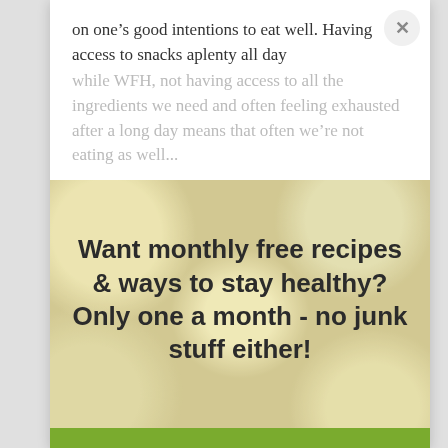on one's good intentions to eat well. Having access to snacks aplenty all day while WFH, not having access to all the ingredients we need and often feeling exhausted after a long day means that often we're not eating as well...
[Figure (photo): Food photo background showing bowls of food (likely soups or salads viewed from above), with a promotional text overlay reading: Want monthly free recipes & ways to stay healthy? Only one a month - no junk stuff either!]
Want monthly free recipes & ways to stay healthy? Only one a month - no junk stuff either!